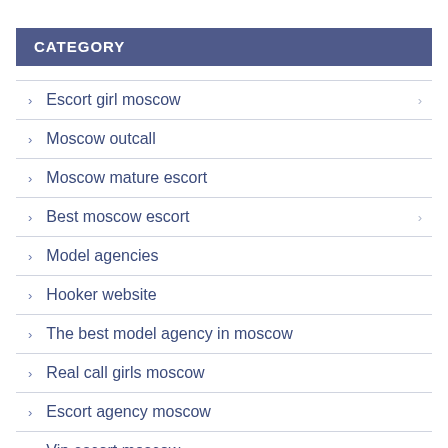CATEGORY
Escort girl moscow
Moscow outcall
Moscow mature escort
Best moscow escort
Model agencies
Hooker website
The best model agency in moscow
Real call girls moscow
Escort agency moscow
Vip escort moscow